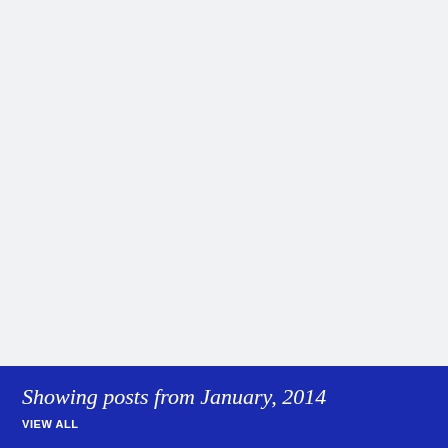Showing posts from January, 2014
VIEW ALL